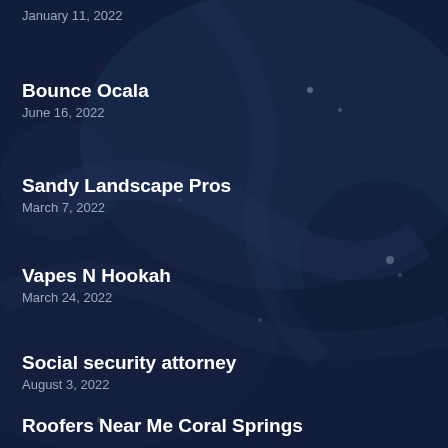January 11, 2022
Bounce Ocala
June 16, 2022
Sandy Landscape Pros
March 7, 2022
Vapes N Hookah
March 24, 2022
Social security attorney
August 3, 2022
Roofers Near Me Coral Springs